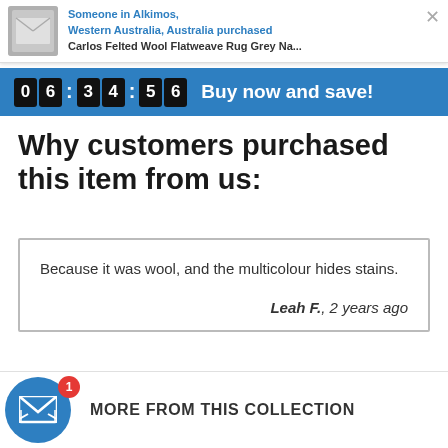Someone in Alkimos, Western Australia, Australia purchased Carlos Felted Wool Flatweave Rug Grey Na...
0 6 : 3 4 : 5 6  Buy now and save!
Why customers purchased this item from us:
Because it was wool, and the multicolour hides stains.
Leah F., 2 years ago
MORE FROM THIS COLLECTION